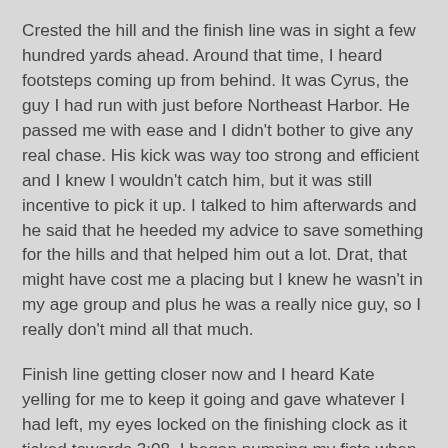Crested the hill and the finish line was in sight a few hundred yards ahead. Around that time, I heard footsteps coming up from behind. It was Cyrus, the guy I had run with just before Northeast Harbor. He passed me with ease and I didn't bother to give any real chase. His kick was way too strong and efficient and I knew I wouldn't catch him, but it was still incentive to pick it up. I talked to him afterwards and he said that he heeded my advice to save something for the hills and that helped him out a lot. Drat, that might have cost me a placing but I knew he wasn't in my age group and plus he was a really nice guy, so I really don't mind all that much.
Finish line getting closer now and I heard Kate yelling for me to keep it going and gave whatever I had left, my eyes locked on the finishing clock as it ticked towards 3:08. I began pumping my fists when I knew I'd break it and I cruised in at 3:07:58. As I did so, Gary swooped over with a big smile and slapped me five as I crossed, which was really nice of him. It ended up being a PR of four minutes and 11 seconds, which is pretty substancial for me at this stage. Stoked!